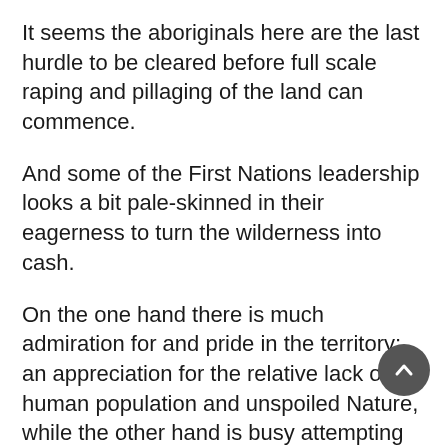It seems the aboriginals here are the last hurdle to be cleared before full scale raping and pillaging of the land can commence.
And some of the First Nations leadership looks a bit pale-skinned in their eagerness to turn the wilderness into cash.
On the one hand there is much admiration for and pride in the territory; an appreciation for the relative lack of human population and unspoiled Nature, while the other hand is busy attempting to decimate the wilderness, increase the population and make everyone richer and able to live as though they are in suburbia.
The latter ambition contributes to my amazement; I don't believe that in my life I've lived anywhere where people enjoy such a pleasant standard of living.